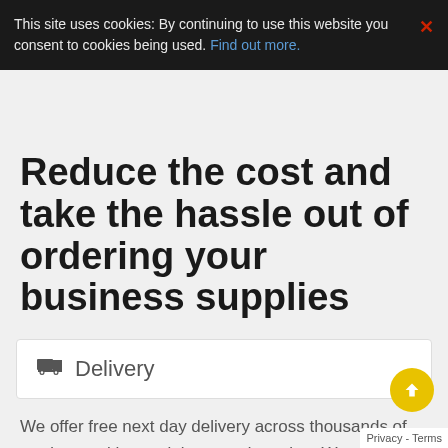This site uses cookies: By continuing to use this website you consent to cookies being used. Find out more.
Reduce the cost and take the hassle out of ordering your business supplies
Delivery
We offer free next day delivery across thousands of products, with no minimum order value. We also offer desktop delivery, we don't just leave your goods at reception.